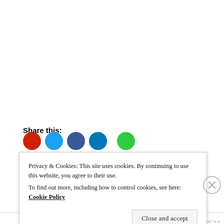Share this:
[Figure (illustration): Row of colored social share circles (red, light blue, dark blue, blue, green) partially visible at bottom]
Privacy & Cookies: This site uses cookies. By continuing to use this website, you agree to their use. To find out more, including how to control cookies, see here: Cookie Policy
Close and accept